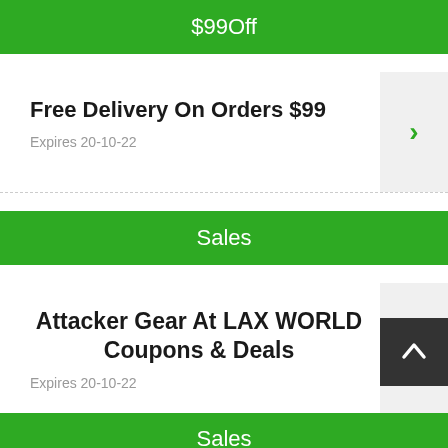$99Off
Free Delivery On Orders $99
Expires 20-10-22
Sales
Attacker Gear At LAX WORLD Coupons & Deals
Expires 20-10-22
Sales